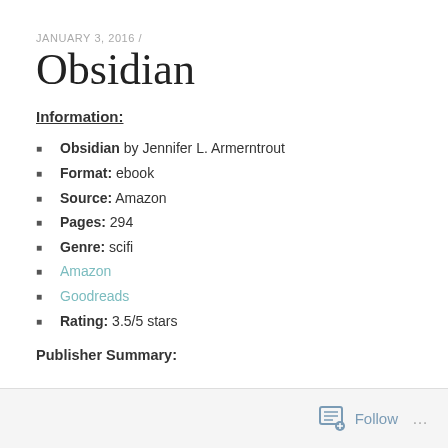JANUARY 3, 2016 /
Obsidian
Information:
Obsidian by Jennifer L. Armerntrout
Format: ebook
Source: Amazon
Pages: 294
Genre: scifi
Amazon
Goodreads
Rating: 3.5/5 stars
Publisher Summary:
Follow ...